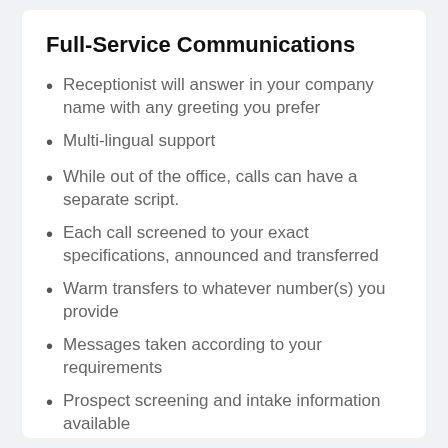Full-Service Communications
Receptionist will answer in your company name with any greeting you prefer
Multi-lingual support
While out of the office, calls can have a separate script.
Each call screened to your exact specifications, announced and transferred
Warm transfers to whatever number(s) you provide
Messages taken according to your requirements
Prospect screening and intake information available